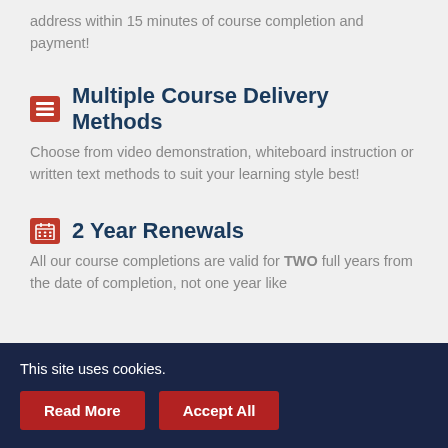address within 15 minutes of course completion and payment!
Multiple Course Delivery Methods
Choose from video demonstration, whiteboard instruction or written text methods to suit your learning style best!
2 Year Renewals
All our course completions are valid for TWO full years from the date of completion, not one year like
This site uses cookies.
Read More
Accept All